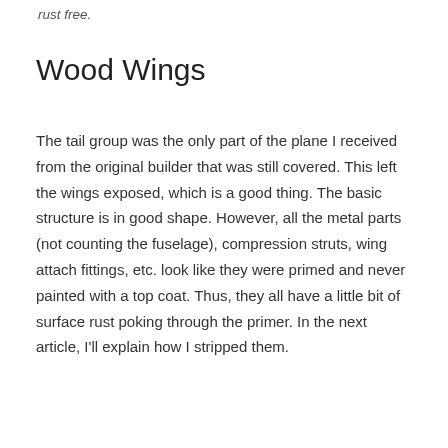rust free.
Wood Wings
The tail group was the only part of the plane I received from the original builder that was still covered. This left the wings exposed, which is a good thing. The basic structure is in good shape. However, all the metal parts (not counting the fuselage), compression struts, wing attach fittings, etc. look like they were primed and never painted with a top coat. Thus, they all have a little bit of surface rust poking through the primer. In the next article, I'll explain how I stripped them.